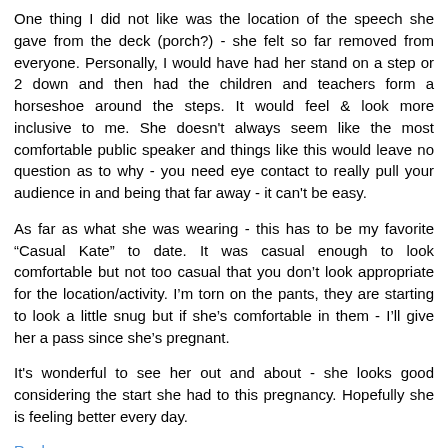One thing I did not like was the location of the speech she gave from the deck (porch?) - she felt so far removed from everyone. Personally, I would have had her stand on a step or 2 down and then had the children and teachers form a horseshoe around the steps. It would feel & look more inclusive to me. She doesn't always seem like the most comfortable public speaker and things like this would leave no question as to why - you need eye contact to really pull your audience in and being that far away - it can't be easy.
As far as what she was wearing - this has to be my favorite “Casual Kate” to date. It was casual enough to look comfortable but not too casual that you don’t look appropriate for the location/activity. I’m torn on the pants, they are starting to look a little snug but if she’s comfortable in them - I’ll give her a pass since she’s pregnant.
It's wonderful to see her out and about - she looks good considering the start she had to this pregnancy. Hopefully she is feeling better every day.
Reply